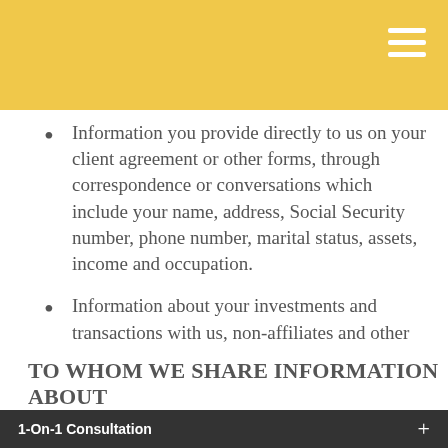Information you provide directly to us on your client agreement or other forms, through correspondence or conversations which include your name, address, Social Security number, phone number, marital status, assets, income and occupation.
Information about your investments and transactions with us, non-affiliates and other financial institutions or third parties you hire. This may include specific investments, account numbers, account balances, cash deposits and withdrawals and other financial information.
TO WHOM WE SHARE INFORMATION ABOUT
1-On-1 Consultation